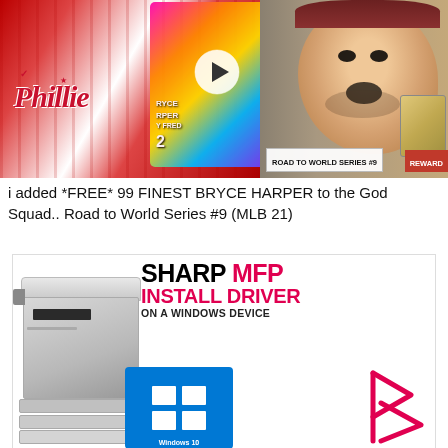[Figure (screenshot): YouTube video thumbnail showing Bryce Harper in Phillies uniform on the left, colorful baseball card in center with play button overlay, and a surprised/reacting male face on the right. Bottom badge reads 'ROAD TO WORLD SERIES #9' and 'REWARD'.]
i added *FREE* 99 FINEST BRYCE HARPER to the God Squad.. Road to World Series #9 (MLB 21)
[Figure (screenshot): Sharp MFP promotional image showing a grey multifunction printer on the left with text 'SHARP MFP INSTALL DRIVER ON A WINDOWS DEVICE', a Windows 10 logo tile in blue, and a pink/red Plex logo on the right.]